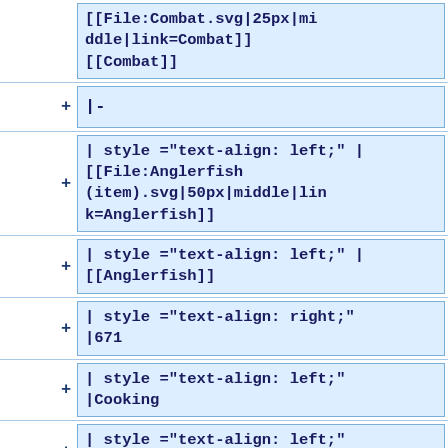[[File:Combat.svg|25px|middle|link=Combat]]
[[Combat]]
|-
| style ="text-align: left;" |
[[File:Anglerfish (item).svg|50px|middle|link=Anglerfish]]
| style ="text-align: left;" |
[[Anglerfish]]
| style ="text-align: right;"
|671
| style ="text-align: left;"
|Cooking
| style ="text-align: left;"
|Food
| style ="text-align:
right;white-space: